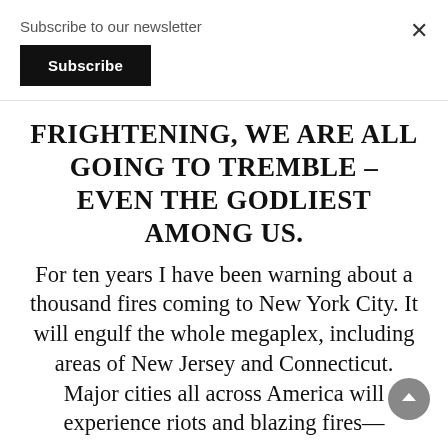Subscribe to our newsletter
Subscribe
FRIGHTENING, WE ARE ALL GOING TO TREMBLE – EVEN THE GODLIEST AMONG US.
For ten years I have been warning about a thousand fires coming to New York City. It will engulf the whole megaplex, including areas of New Jersey and Connecticut. Major cities all across America will experience riots and blazing fires—